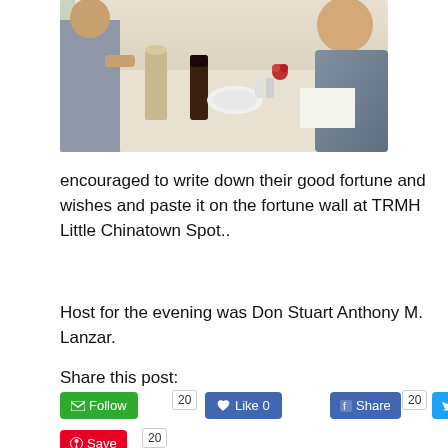[Figure (photo): Photo of people dining at a restaurant table with drinks and food]
encouraged to write down their good fortune and wishes and paste it on the fortune wall at TRMH Little Chinatown Spot..
Host for the evening was Don Stuart Anthony M. Lanzar.
Share this post:
[Figure (screenshot): Social sharing buttons: Follow (green, count 20), Like 0 (Facebook blue), Share (Facebook blue, count 20), Tweet (Twitter blue, count 20), Save (Pinterest red, count 20)]
[Figure (photo): Circular avatar photo of a woman wearing a mask, seated indoors]